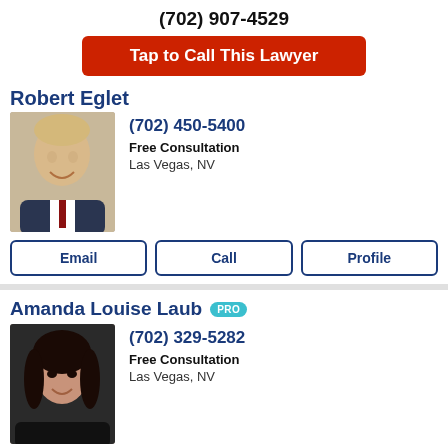(702) 907-4529
Tap to Call This Lawyer
Robert Eglet
[Figure (photo): Headshot photo of Robert Eglet, a middle-aged blond man in a suit, smiling]
(702) 450-5400
Free Consultation
Las Vegas, NV
Email
Call
Profile
Amanda Louise Laub PRO
[Figure (photo): Headshot photo of Amanda Louise Laub, a dark-haired woman smiling, against dark background]
(702) 329-5282
Free Consultation
Las Vegas, NV
Email
Call
Profile